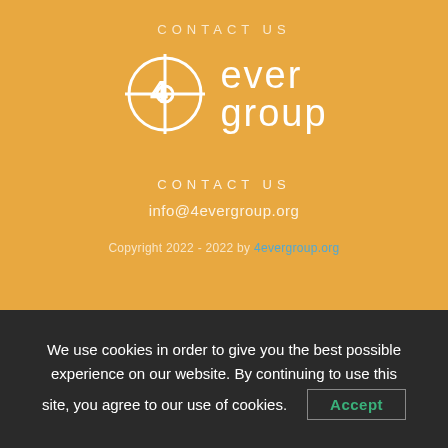CONTACT US
[Figure (logo): 4ever group logo: circular crosshair symbol with text 'ever group' in white on orange background]
CONTACT US
info@4evergroup.org
Copyright 2022 - 2022 by 4evergroup.org
We use cookies in order to give you the best possible experience on our website. By continuing to use this site, you agree to our use of cookies.
Accept